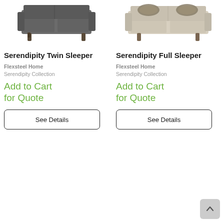[Figure (photo): Serendipity Twin Sleeper sofa product photo, dark gray upholstery, front view, on white background]
[Figure (photo): Serendipity Full Sleeper sofa product photo, light beige upholstery with patterned pillows, front view, on white background]
Serendipity Twin Sleeper
Serendipity Full Sleeper
Flexsteel Home
Serendipity Collection
Add to Cart for Quote
Flexsteel Home
Serendipity Collection
Add to Cart for Quote
See Details
See Details